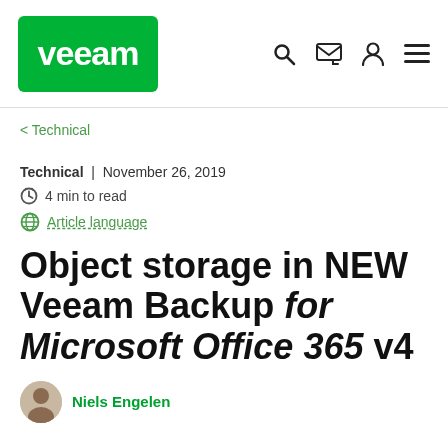[Figure (logo): Veeam logo — white text on green rounded rectangle background]
Navigation bar with search, phone, user, and menu icons
< Technical
Technical | November 26, 2019
4 min to read
Article language
Object storage in NEW Veeam Backup for Microsoft Office 365 v4
Niels Engelen